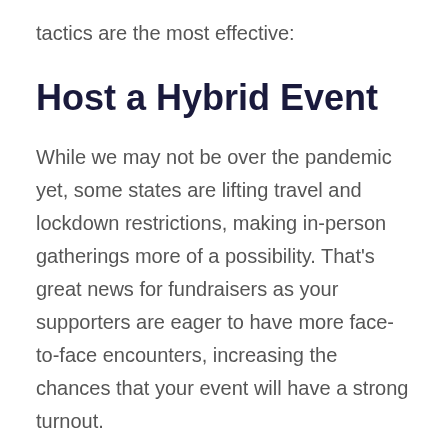tactics are the most effective:
Host a Hybrid Event
While we may not be over the pandemic yet, some states are lifting travel and lockdown restrictions, making in-person gatherings more of a possibility. That's great news for fundraisers as your supporters are eager to have more face-to-face encounters, increasing the chances that your event will have a strong turnout.
That said, live gatherings still have to be kept small, which is why hybrid events — or events that take